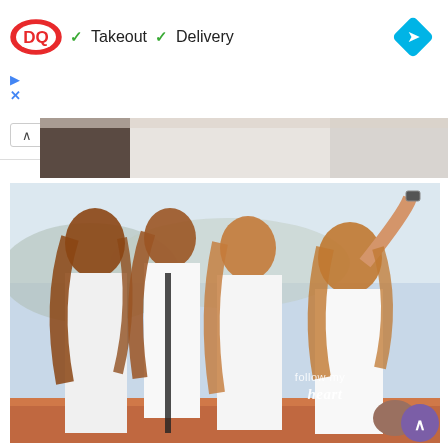[Figure (screenshot): DQ (Dairy Queen) advertisement banner with logo, checkmarks for Takeout and Delivery, a blue diamond directions icon, play and close icons, and a collapse arrow button]
[Figure (photo): Partial photo visible at top showing blurred people in white clothing]
[Figure (photo): Main photo showing three young women in white t-shirts taking a selfie outdoors, with text overlay reading 'follow my heart' in the lower right corner. One woman has her arm raised holding a phone.]